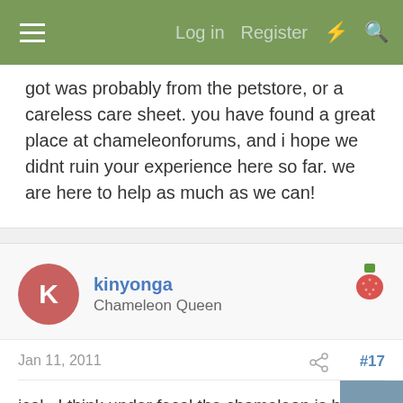Log in  Register
got was probably from the petstore, or a careless care sheet. you have found a great place at chameleonforums, and i hope we didnt ruin your experience here so far. we are here to help as much as we can!
kinyonga
Chameleon Queen
Jan 11, 2011  #17
jcal...I think under fecal the chameleon is being described...not the poop. 🙂

You said he hasn't pooped for a week or so...what color